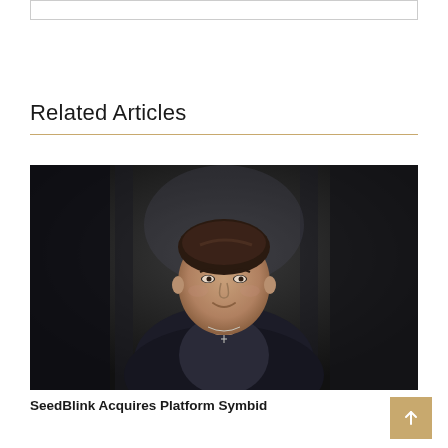Related Articles
[Figure (photo): Professional headshot of a woman in a dark blazer against a dark background, smiling slightly, wearing a necklace.]
SeedBlink Acquires Platform Symbid